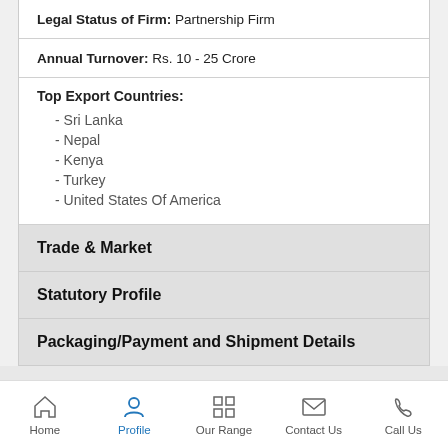Legal Status of Firm: Partnership Firm
Annual Turnover: Rs. 10 - 25 Crore
Top Export Countries:
- Sri Lanka
- Nepal
- Kenya
- Turkey
- United States Of America
Trade & Market
Statutory Profile
Packaging/Payment and Shipment Details
Trade Memberships
Home | Profile | Our Range | Contact Us | Call Us